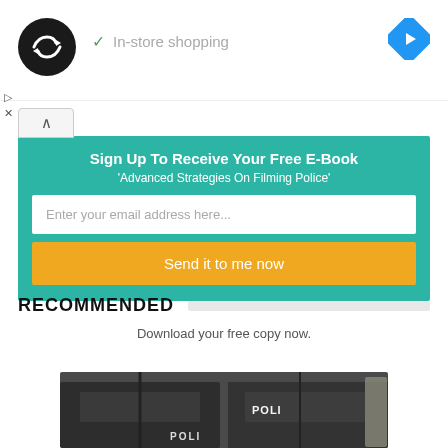[Figure (logo): Black circular logo with double arrow/infinity symbol in white]
✓ In-store shopping
[Figure (logo): Blue diamond navigation/directions icon with white arrow]
▷
X
Sign Up To Receive Your Free E-Book 'Advanced Strategies On Filming Police'
Enter your email address here...
Send it to me now
RECOMMENDED
Download your free copy now.
[Figure (photo): Police officers in tactical gear and riot shields, text POLI visible on vests]